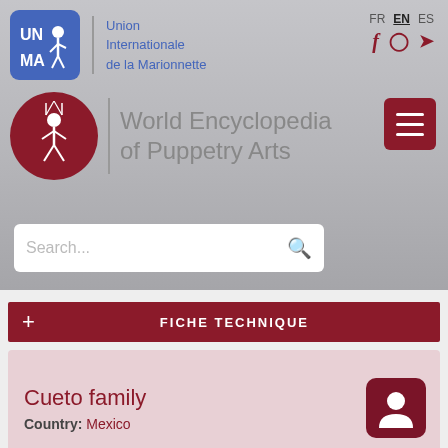[Figure (logo): UNIMA logo - blue rounded square with UN|MA letters and a puppet figure, beside text: Union Internationale de la Marionnette]
[Figure (logo): World Encyclopedia of Puppetry Arts logo - dark red circle with white puppet figure on strings, beside title text]
FR  EN  ES
[Figure (infographic): Social media icons: Facebook (f), Instagram (camera), Twitter (bird) in dark red]
[Figure (screenshot): Search bar with placeholder text 'Search...' and magnifying glass icon]
+ FICHE TECHNIQUE
Cueto family
Country: Mexico